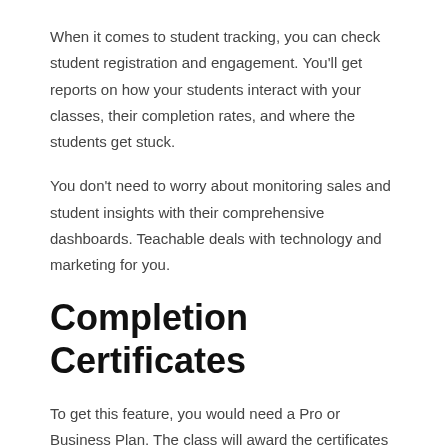When it comes to student tracking, you can check student registration and engagement. You'll get reports on how your students interact with your classes, their completion rates, and where the students get stuck.
You don't need to worry about monitoring sales and student insights with their comprehensive dashboards. Teachable deals with technology and marketing for you.
Completion Certificates
To get this feature, you would need a Pro or Business Plan. The class will award the certificates upon completion (Admin > Courses > Course > Certificates). There are templates available. Teachable will automatically insert your school name, student's name, and name of the course. You may change aspects of your certificate like logo, colour scheme, and pre-set images. But, you may also